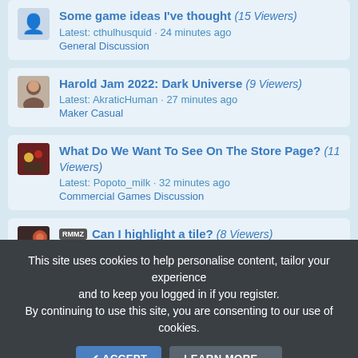Some game ideas I've thought (15 Viewers) Latest: cthulhusquid · 24 minutes ago General Discussion
Harold Jam 2022: Dark Universe (9 Viewers) Latest: AkraticHuman · 27 minutes ago Maker Casual
What Do We Want To See On The Store Page? (11 Viewers) Latest: Popoto_milk · 32 minutes ago Commercial Games Discussion
RMMZ Can I highlight a tile? (8 Viewers) Latest: Sepheyer · Today at 11:29 AM Learning Javascript
This site uses cookies to help personalise content, tailor your experience and to keep you logged in if you register. By continuing to use this site, you are consenting to our use of cookies.